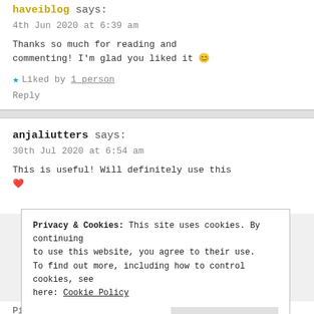haveiblog says:
4th Jun 2020 at 6:39 am
Thanks so much for reading and commenting! I'm glad you liked it 😊
★ Liked by 1 person
Reply
anjaliutters says:
30th Jul 2020 at 6:54 am
This is useful! Will definitely use this ❤️
Privacy & Cookies: This site uses cookies. By continuing to use this website, you agree to their use. To find out more, including how to control cookies, see here: Cookie Policy
Close and accept
Pingback: Self Isolation Diaries: Day One -